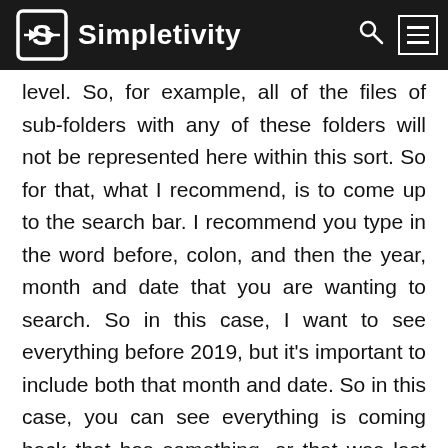Simpletivity
level. So, for example, all of the files of sub-folders with any of these folders will not be represented here within this sort. So for that, what I recommend, is to come up to the search bar. I recommend you type in the word before, colon, and then the year, month and date that you are wanting to search. So in this case, I want to see everything before 2019, but it's important to include both that month and date. So in this case, you can see everything is coming back that has something, or that was last modified before 2019. And it's actually not a very long list. I can't even scroll all the way down. So I can go through these particular files and see if there's anything here that I would like to delete. If I want to see a longer list, maybe I'm going to change this date to 2020. And now you can